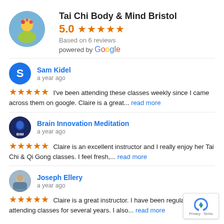Tai Chi Body & Mind Bristol
5.0 ★★★★★ Based on 6 reviews powered by Google
Sam Kidel
a year ago
★★★★★ I've been attending these classes weekly since I came across them on google. Claire is a great... read more
Brain Innovation Meditation
a year ago
★★★★★ Claire is an excellent instructor and I really enjoy her Tai Chi & Qi Gong classes. I feel fresh,... read more
Joseph Ellery
a year ago
★★★★★ Claire is a great instructor. I have been regularly attending classes for several years. I also... read more